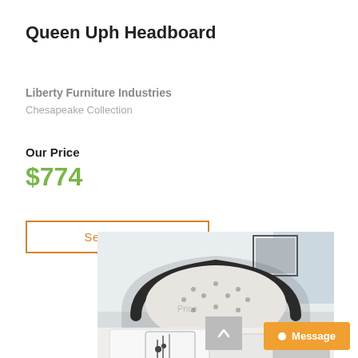Queen Uph Headboard
Liberty Furniture Industries
Chesapeake Collection
Our Price
$774
See Details
[Figure (photo): Photo of an upholstered queen headboard with tufted cream fabric and dark wood frame, shown with white bedding and pillows]
Message